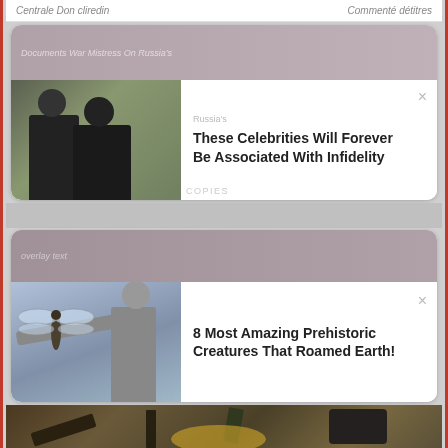Centrale Don cliredin   Commenté détitres
[Figure (photo): Ad card with photo of two people (celebrities) and text overlay. White card with thumbnail photo on left.]
These Celebrities Will Forever Be Associated With Infidelity
[Figure (photo): Ad card with person holding large dragonfly, prehistoric creatures article thumbnail.]
8 Most Amazing Prehistoric Creatures That Roamed Earth!
[Figure (illustration): Disney animated princess character with dark hair and pink top looking into a mirror, stone wall background. Article: 10 Amazing Characters We Wish Were Official Disney Princesses. Brand: BRAINBERRIES]
10 Amazing Characters We Wish Were Official Disney Princesses
BRAINBERRIES
[Figure (photo): Workshop or craft scene with tools, straw, and various objects on a wooden table, partially visible at bottom.]